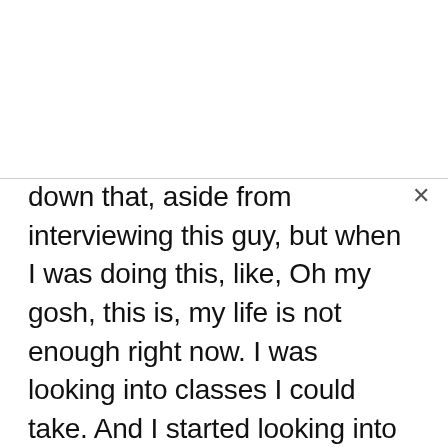down that, aside from interviewing this guy, but when I was doing this, like, Oh my gosh, this is, my life is not enough right now. I was looking into classes I could take. And I started looking into the idea of building your own hydro-aquaponic garden. Like or the hydroponic, the one with the fish and the plants that becomes its own ecosystem. And I found like, 'Oh, there's a class on building this. That sounds cool.' But then everyone's just like, doing the reviews of the class and it's like, 'It's not enough to learn to build this.'